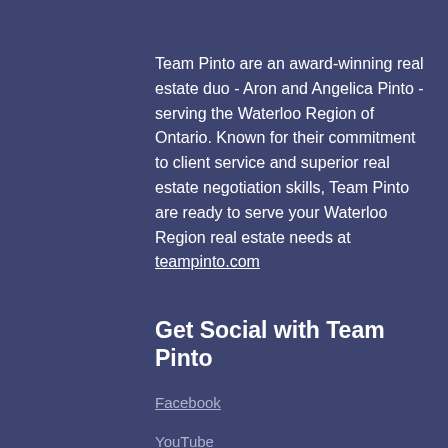Team Pinto are an award-winning real estate duo - Aron and Angelica Pinto - serving the Waterloo Region of Ontario. Known for their commitment to client service and superior real estate negotiation skills, Team Pinto are ready to serve your Waterloo Region real estate needs at teampinto.com
Get Social with Team Pinto
Facebook
YouTube
LinkedIn